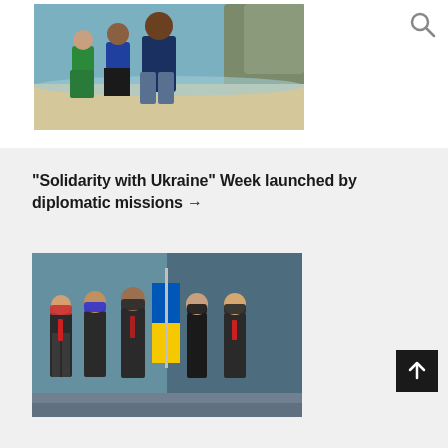[Figure (photo): Three people walking on a beach, one wearing green dress, others in blue shirts]
[Figure (illustration): Search icon (magnifying glass)]
“Solidarity with Ukraine” Week launched by diplomatic missions →
[Figure (photo): Five people in suits standing in front of a building, with a Ukrainian flag in the center]